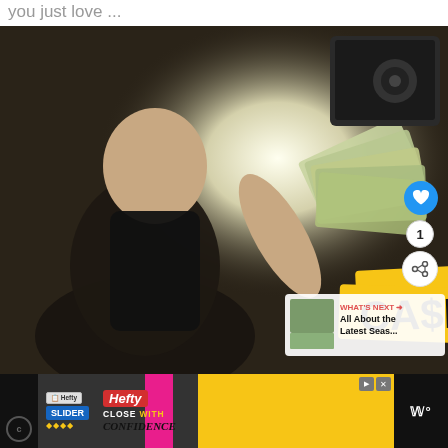you just love ...
[Figure (photo): Man in black t-shirt holding a fan of dollar bills inside a vehicle cab, with 'CASH CAB' logo visible on yellow banner in the lower right. Blue heart button, number badge '1', and share button overlay on the right. 'WHAT'S NEXT' panel shows 'All About the Latest Seas...' in bottom right corner.]
[Figure (photo): Advertisement banner for Hefty Slider bags with 'HEFTY CLOSE WITH CONFIDENCE' text on yellow background. Left and right sides are dark/black. Right side shows 'W' logo on dark background.]